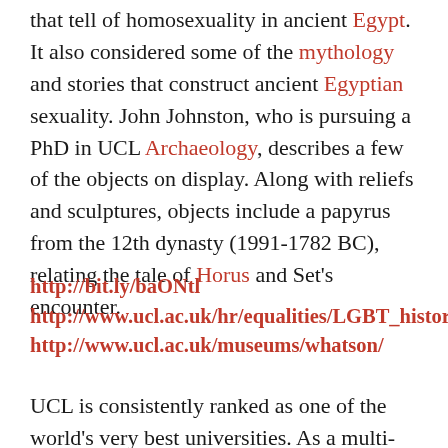that tell of homosexuality in ancient Egypt. It also considered some of the mythology and stories that construct ancient Egyptian sexuality. John Johnston, who is pursuing a PhD in UCL Archaeology, describes a few of the objects on display. Along with reliefs and sculptures, objects include a papyrus from the 12th dynasty (1991-1782 BC), relating the tale of Horus and Set's encounter.
http://bit.ly/baONtl
http://www.ucl.ac.uk/hr/equalities/LGBT_history
http://www.ucl.ac.uk/museums/whatson/
UCL is consistently ranked as one of the world's very best universities. As a multi-faculty, research-